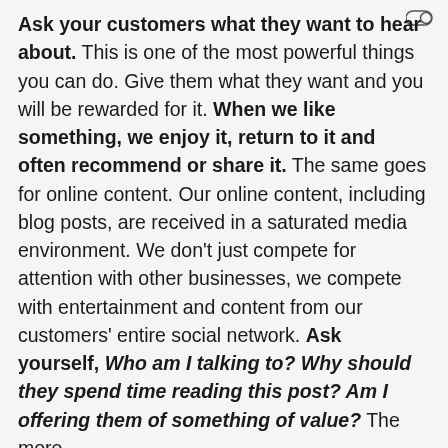Ask your customers what they want to hear about. This is one of the most powerful things you can do. Give them what they want and you will be rewarded for it. When we like something, we enjoy it, return to it and often recommend or share it. The same goes for online content. Our online content, including blog posts, are received in a saturated media environment. We don't just compete for attention with other businesses, we compete with entertainment and content from our customers' entire social network. Ask yourself, Who am I talking to? Why should they spend time reading this post? Am I offering them of something of value? The more